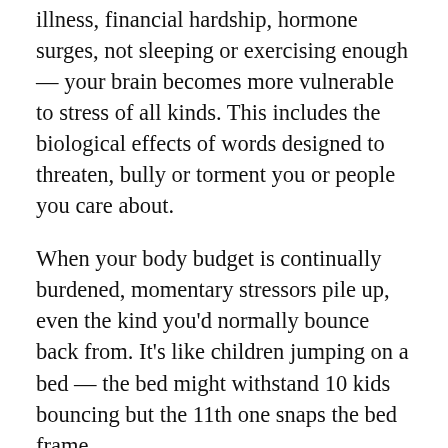illness, financial hardship, hormone surges, not sleeping or exercising enough — your brain becomes more vulnerable to stress of all kinds. This includes the biological effects of words designed to threaten, bully or torment you or people you care about.
When your body budget is continually burdened, momentary stressors pile up, even the kind you'd normally bounce back from. It's like children jumping on a bed — the bed might withstand 10 kids bouncing but the 11th one snaps the bed frame.
Simply put, a long period of chronic stress can harm a human brain. When you're on the receiving end of sustained verbal aggression, studies show you're more likely to get sick. Scientists don't understand all the underlying mechanisms yet, but we know it happens.